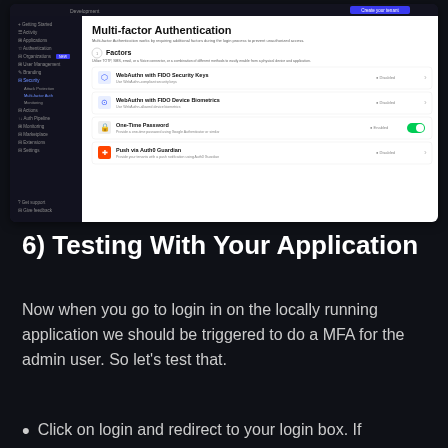[Figure (screenshot): Auth0 dashboard screenshot showing Multi-factor Authentication settings page with sidebar navigation and four factor options: WebAuthn with FIDO Security Keys (Disabled), WebAuthn with FIDO Device Biometrics (Disabled), One-Time Password (Enabled, toggled on), and Push via Auth0 Guardian (Disabled)]
6) Testing With Your Application
Now when you go to login in on the locally running application we should be triggered to do a MFA for the admin user. So let's test that.
Click on login and redirect to your login box. If